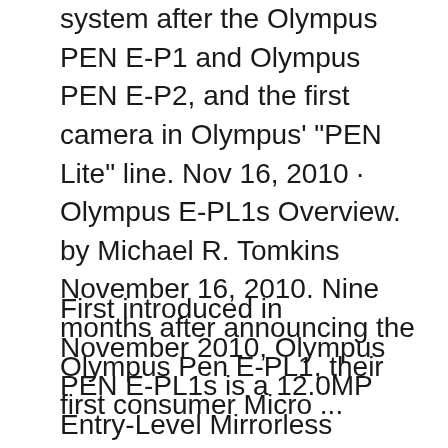system after the Olympus PEN E-P1 and Olympus PEN E-P2, and the first camera in Olympus' "PEN Lite" line. Nov 16, 2010 · Olympus E-PL1s Overview. by Michael R. Tomkins November 16, 2010. Nine months after announcing the Olympus Pen E-PL1, their first consumer Micro ...
First introduced in November 2010, Olympus PEN E-PL1s is a 12.0MP Entry-Level Mirrorless camera with a Four Thirds (17.3 x 13 mm ) sized CMOS sensor. Olympus replaced the older Olympus E-PL1 with this model and later E-PL1s was replaced with Olympus E-PL2. Follow the ... Olympus E-PL2 Manual User Guide in PDF. In the first